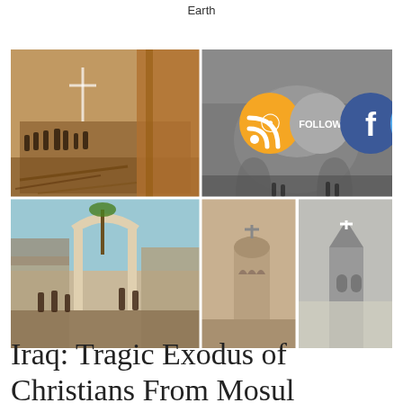Earth
[Figure (photo): A 2x2 grid of four photographs showing destroyed and damaged Christian churches. Top-left: interior of a bombed church with rubble and people. Top-right: black-and-white photo of a burned church interior with domed ceiling. Bottom-left: exterior of a destroyed church building with arch gateway and people surveying damage. Bottom-right: two images of ancient Christian church towers/buildings. Social media icons (RSS, Follow, Facebook, Twitter) overlaid on top-right area of the grid.]
Iraq: Tragic Exodus of Christians From Mosul